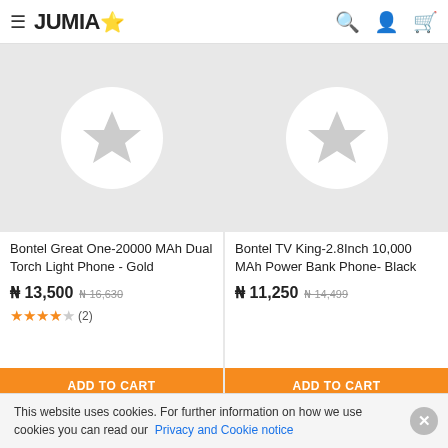JUMIA
[Figure (screenshot): Product image placeholder with star icon on grey background - Bontel Great One]
Bontel Great One-20000 MAh Dual Torch Light Phone - Gold
₦ 13,500  ₦ 16,630 (strikethrough)
★★★☆☆ (2)
ADD TO CART
[Figure (screenshot): Product image placeholder with star icon on grey background - Bontel TV King]
Bontel TV King-2.8Inch 10,000 MAh Power Bank Phone- Black
₦ 11,250  ₦ 14,499 (strikethrough)
ADD TO CART
POPULARITY  ∨   FILTERS (1)
This website uses cookies. For further information on how we use cookies you can read our Privacy and Cookie notice